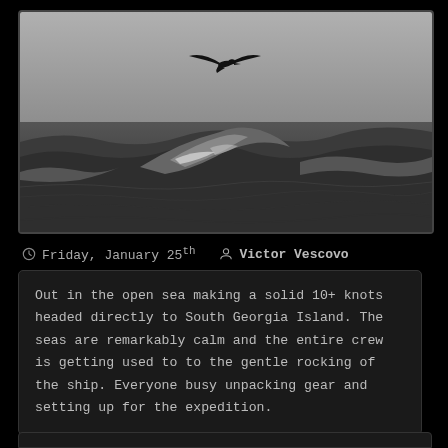[Figure (photo): Black and white photograph of rough open ocean waves with a seabird (albatross) soaring in the grey sky above.]
Friday, January 25th   Victor Vescovo
Out in the open sea making a solid 10+ knots headed directly to South Georgia Island. The seas are remarkably calm and the entire crew is getting used to to the gentle rocking of the ship. Everyone busy unpacking gear and setting up for the expedition.